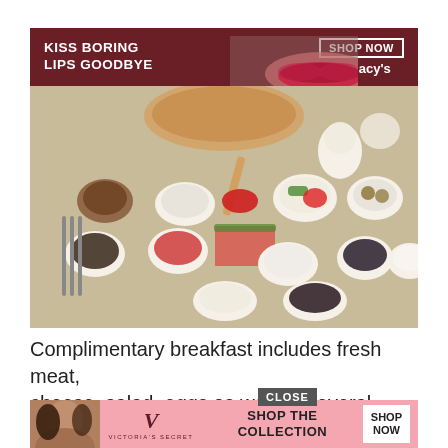[Figure (photo): A spread of Turkish breakfast foods including various small bowls with sauces, olives, cheese, salad, jam, and other condiments arranged on a tray. A woman's face with red lips is partially visible at the top. A Macy's advertisement banner is overlaid at the top of the image reading 'KISS BORING LIPS GOODBYE' with 'SHOP NOW' and Macy's logo.]
Complimentary breakfast includes fresh meat, cheese, salad, eggs as well as several Turkish additions. Food is ready right from the ... y is also ... nous
[Figure (screenshot): Victoria's Secret advertisement banner with pink background showing VS logo, 'SHOP THE COLLECTION' text, and a 'SHOP NOW' button. A woman with curly hair is on the left side. A 'CLOSE' button appears above the banner.]